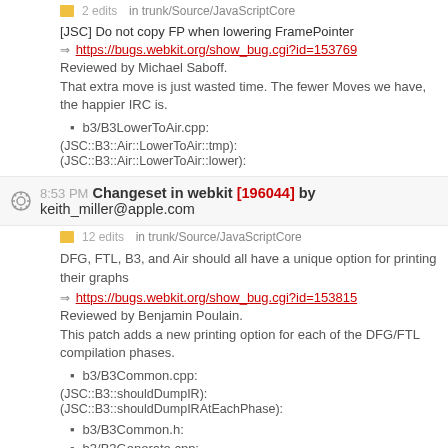2 edits   in trunk/Source/JavaScriptCore
[JSC] Do not copy FP when lowering FramePointer
https://bugs.webkit.org/show_bug.cgi?id=153769
Reviewed by Michael Saboff.
That extra move is just wasted time. The fewer Moves we have, the happier IRC is.
b3/B3LowerToAir.cpp:
(JSC::B3::Air::LowerToAir::tmp):
(JSC::B3::Air::LowerToAir::lower):
8:53 PM Changeset in webkit [196044] by keith_miller@apple.com
12 edits   in trunk/Source/JavaScriptCore
DFG, FTL, B3, and Air should all have a unique option for printing their graphs
https://bugs.webkit.org/show_bug.cgi?id=153815
Reviewed by Benjamin Poulain.
This patch adds a new printing option for each of the DFG/FTL compilation phases.
b3/B3Common.cpp:
(JSC::B3::shouldDumpIR):
(JSC::B3::shouldDumpIRAtEachPhase):
b3/B3Common.h:
b3/B3Generate.cpp: